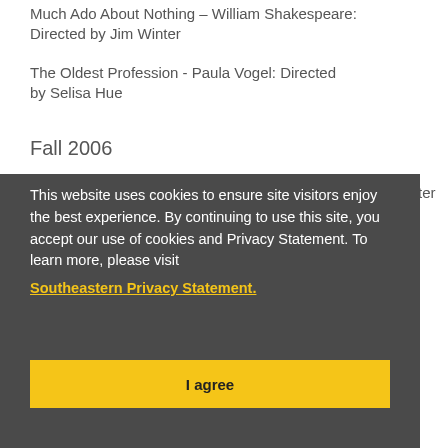Much Ado About Nothing - William Shakespeare: Directed by Jim Winter
The Oldest Profession - Paula Vogel: Directed by Selisa Hue
Fall 2006
This website uses cookies to ensure site visitors enjoy the best experience. By continuing to use this site, you accept our use of cookies and Privacy Statement. To learn more, please visit Southeastern Privacy Statement.
I agree